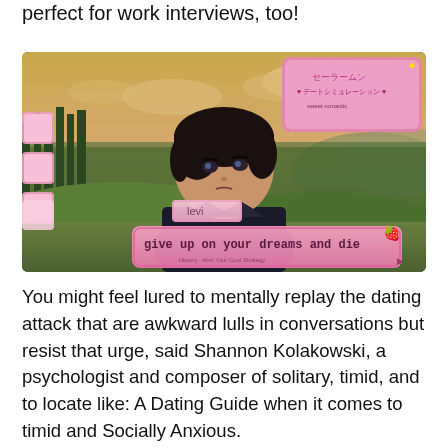perfect for work interviews, too!
[Figure (screenshot): Anime dating sim screenshot showing a dark-haired male character named 'levi' against a fantasy landscape background with pink dialogue box reading 'give up on your dreams and die'. Pink Sailor Moon style UI overlay visible in top right corner.]
You might feel lured to mentally replay the dating attack that are awkward lulls in conversations but resist that urge, said Shannon Kolakowski, a psychologist and composer of solitary, timid, and to locate like: A Dating Guide when it comes to timid and Socially Anxious.